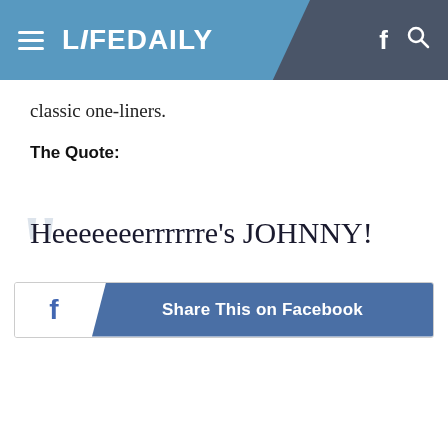LiFEDAILY
classic one-liners.
The Quote:
Heeeeeeerrrrrre's JOHNNY!
Share This on Facebook